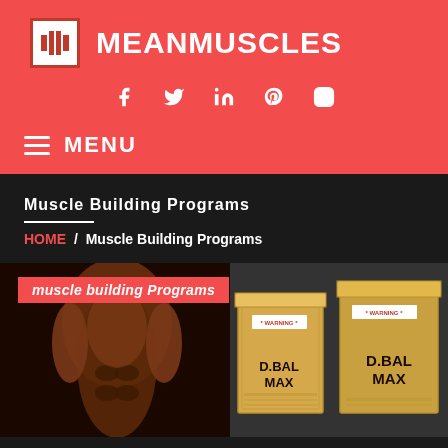MEANMUSCLES
[Figure (screenshot): MeanMuscles website header with logo, social media icons (Facebook, Twitter, LinkedIn, Pinterest, Instagram), and MENU navigation on red background]
Muscle Building Programs
HOME / Muscle Building Programs
[Figure (photo): Muscle building Programs article thumbnail showing muscular torso on left and D.BAL.MAX supplement boxes on right]